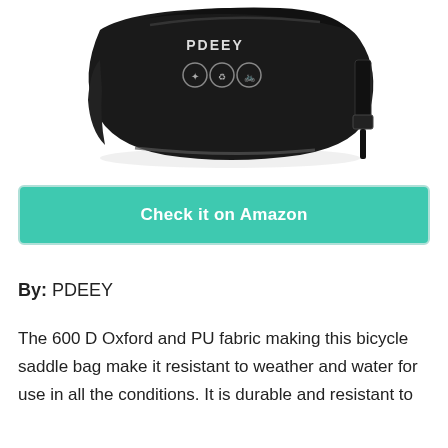[Figure (photo): Black PDEEY bicycle saddle bag photographed against white background, showing top-down view with strap and logo icons visible]
Check it on Amazon
By: PDEEY
The 600D Oxford and PU fabric making this bicycle saddle bag make it resistant to weather and water for use in all the conditions. It is durable and resistant to